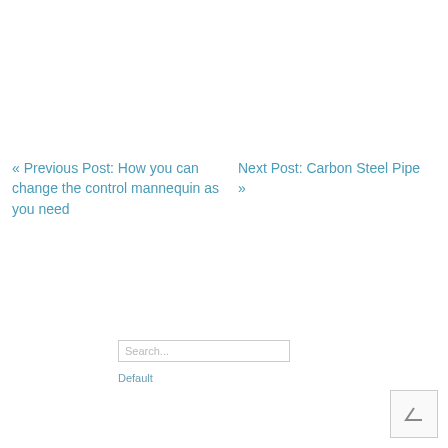« Previous Post: How you can change the control mannequin as you need
Next Post: Carbon Steel Pipe »